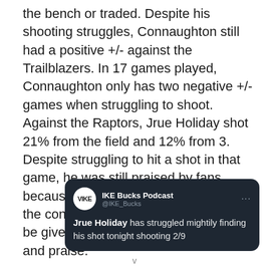the bench or traded. Despite his shooting struggles, Connaughton still had a positive +/- against the Trailblazers. In 17 games played, Connaughton only has two negative +/- games when struggling to shoot. Against the Raptors, Jrue Holiday shot 21% from the field and 12% from 3. Despite struggling to hit a shot in that game, he was still praised by fans because he had a positive +/-. Where's the consistency? Connaughton should be given the same amount of respect and praise.
[Figure (screenshot): Screenshot of a tweet from @IKE_Bucks (IKE Bucks Podcast) on a dark background reading: 'Jrue Holiday has struggled mightily finding his shot tonight shooting 2/9']
v